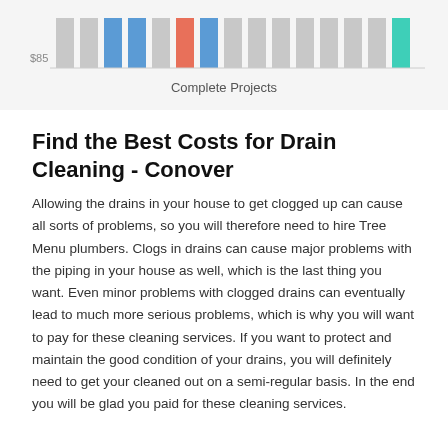[Figure (bar-chart): Complete Projects]
Find the Best Costs for Drain Cleaning - Conover
Allowing the drains in your house to get clogged up can cause all sorts of problems, so you will therefore need to hire Tree Menu plumbers. Clogs in drains can cause major problems with the piping in your house as well, which is the last thing you want. Even minor problems with clogged drains can eventually lead to much more serious problems, which is why you will want to pay for these cleaning services. If you want to protect and maintain the good condition of your drains, you will definitely need to get your cleaned out on a semi-regular basis. In the end you will be glad you paid for these cleaning services.